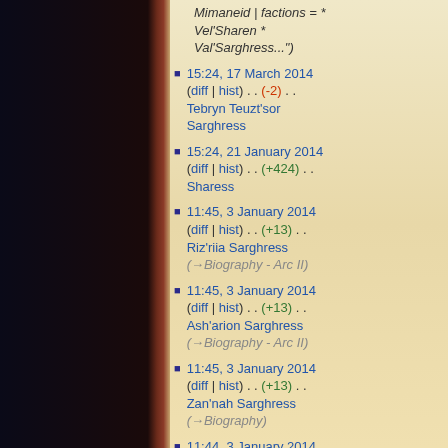Mimaneid | factions = * Vel'Sharen * Val'Sarghress...")
15:24, 17 March 2014 (diff | hist) . . (-2) . . Tebryn Teuzt'sor Sarghress
15:24, 21 January 2014 (diff | hist) . . (+424) . . Sharess
11:45, 3 January 2014 (diff | hist) . . (+13) . . Riz'riia Sarghress (→Biography - Arc II)
11:45, 3 January 2014 (diff | hist) . . (+13) . . Ash'arion Sarghress (→Biography - Arc II)
11:45, 3 January 2014 (diff | hist) . . (+13) . . Zan'nah Sarghress (→Biography)
11:44, 3 January 2014